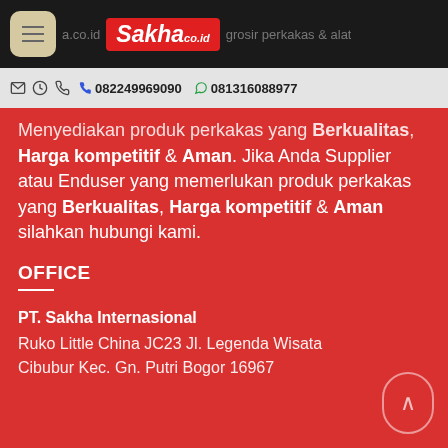Sakha.co.id — grosir perkakas & alat
082249969090  081316088977
Menyediakan produk perkakas yang Berkualitas, Harga kompetitif & Aman. Jika Anda Supplier atau Enduser yang memerlukan produk perkakas yang Berkualitas, Harga kompetitif & Aman silahkan hubungi kami.
OFFICE
PT. Sakha Internasional
Ruko Little China JC23 Jl. Legenda Wisata Cibubur Kec. Gn. Putri Bogor 16967